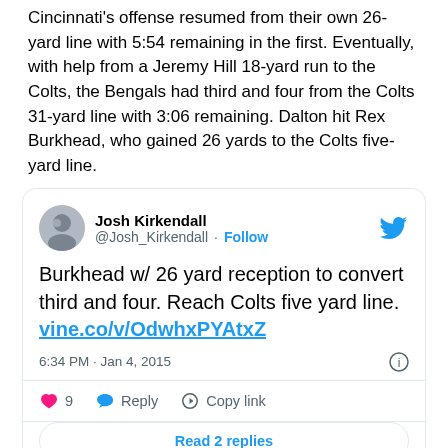Cincinnati's offense resumed from their own 26-yard line with 5:54 remaining in the first. Eventually, with help from a Jeremy Hill 18-yard run to the Colts, the Bengals had third and four from the Colts 31-yard line with 3:06 remaining. Dalton hit Rex Burkhead, who gained 26 yards to the Colts five-yard line.
[Figure (screenshot): Embedded tweet from @Josh_Kirkendall dated Jan 4, 2015: 'Burkhead w/ 26 yard reception to convert third and four. Reach Colts five yard line. vine.co/v/OdwhxPYAtxZ' with 9 likes, Reply, Copy link actions and Read 2 replies button.]